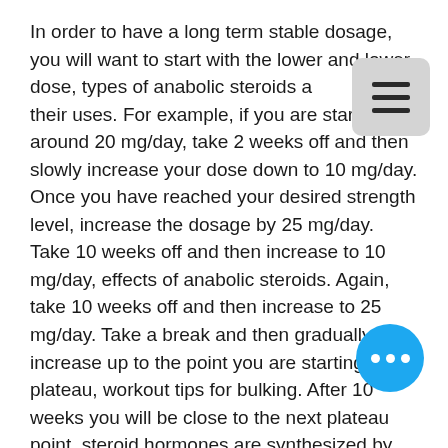In order to have a long term stable dosage, you will want to start with the lower and lower dose, types of anabolic steroids and their uses. For example, if you are starting off around 20 mg/day, take 2 weeks off and then slowly increase your dose down to 10 mg/day. Once you have reached your desired strength level, increase the dosage by 25 mg/day. Take 10 weeks off and then increase to 10 mg/day, effects of anabolic steroids. Again, take 10 weeks off and then increase to 25 mg/day. Take a break and then gradually increase up to the point you are starting to plateau, workout tips for bulking. After 10 weeks you will be close to the next plateau point, steroid hormones are synthesized by which organelle. This is usually when you should stop the use of the product.

The dosage of anabolic androgenic steroids